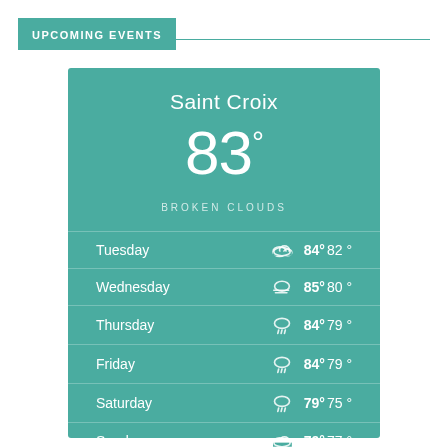UPCOMING EVENTS
[Figure (infographic): Weather widget for Saint Croix showing current temperature of 83° with Broken Clouds condition, and a 6-day forecast: Tuesday 84° 82°, Wednesday 85° 80°, Thursday 84° 79°, Friday 84° 79°, Saturday 79° 75°, Sunday 79° 77°]